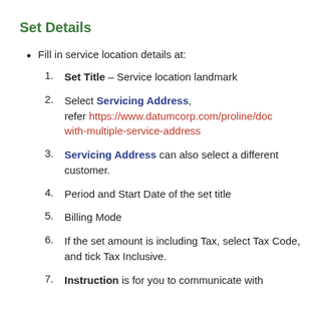Set Details
Fill in service location details at:
1. Set Title – Service location landmark
2. Select Servicing Address, refer https://www.datumcorp.com/proline/doc with-multiple-service-address
3. Servicing Address can also select a different customer.
4. Period and Start Date of the set title
5. Billing Mode
6. If the set amount is including Tax, select Tax Code, and tick Tax Inclusive.
7. Instruction is for you to communicate with